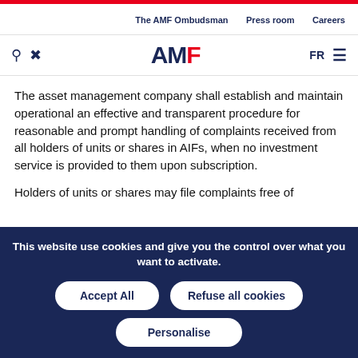The AMF Ombudsman  Press room  Careers
[Figure (logo): AMF logo with search and tool icons on the left, FR and hamburger menu on the right]
The asset management company shall establish and maintain operational an effective and transparent procedure for reasonable and prompt handling of complaints received from all holders of units or shares in AIFs, when no investment service is provided to them upon subscription.
Holders of units or shares may file complaints free of
This website use cookies and give you the control over what you want to activate.
Accept All  Refuse all cookies  Personalise